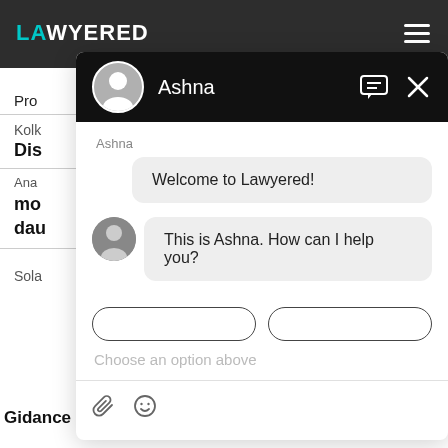LAWYERED
[Figure (screenshot): Chat overlay widget from Lawyered website showing a chat with Ashna. Header shows avatar and name Ashna with chat and close icons. Messages: 'Welcome to Lawyered!' and 'This is Ashna. How can I help you?' with input area showing 'Choose an option above' placeholder and attachment/emoji icons.]
Pro
Kolk
Dis
Ana
mo
dau
Sola
Gidance regarding transfer of land.